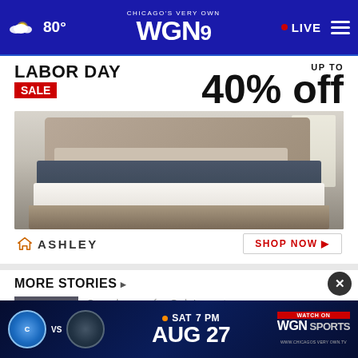CHICAGO'S VERY OWN WGN 9 | 80° | LIVE
[Figure (screenshot): Ashley Furniture Labor Day Sale advertisement: 'LABOR DAY SALE Up to 40% off' with image of a bed and 'SHOP NOW' button]
MORE STORIES ▸
Gun charges for Oak Lawn teen seen...
[Figure (infographic): WGN Sports banner ad: Chicago Fire vs opponent, SAT 7 PM, Watch on WGN Sports, AUG 27]